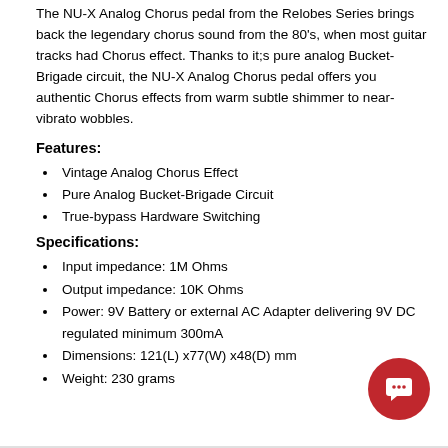The NU-X Analog Chorus pedal from the Relobes Series brings back the legendary chorus sound from the 80's, when most guitar tracks had Chorus effect. Thanks to it;s pure analog Bucket-Brigade circuit, the NU-X Analog Chorus pedal offers you authentic Chorus effects from warm subtle shimmer to near-vibrato wobbles.
Features:
Vintage Analog Chorus Effect
Pure Analog Bucket-Brigade Circuit
True-bypass Hardware Switching
Specifications:
Input impedance: 1M Ohms
Output impedance: 10K Ohms
Power: 9V Battery or external AC Adapter delivering 9V DC regulated minimum 300mA
Dimensions: 121(L) x77(W) x48(D) mm
Weight: 230 grams